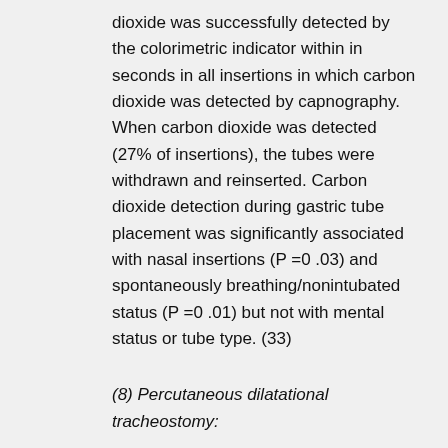dioxide was successfully detected by the colorimetric indicator within in seconds in all insertions in which carbon dioxide was detected by capnography. When carbon dioxide was detected (27% of insertions), the tubes were withdrawn and reinserted. Carbon dioxide detection during gastric tube placement was significantly associated with nasal insertions (P =0 .03) and spontaneously breathing/nonintubated status (P =0 .01) but not with mental status or tube type. (33)
(8) Percutaneous dilatational tracheostomy:
Percutaneous tracheostomy is increasingly performed in intensive care units. The intensive care units have developed their own guidelines to minimize complication rate. These guidelines focus on preoperative risk assessment including levels of ventilatory support and anatomical considerations, seniority of staff, use of